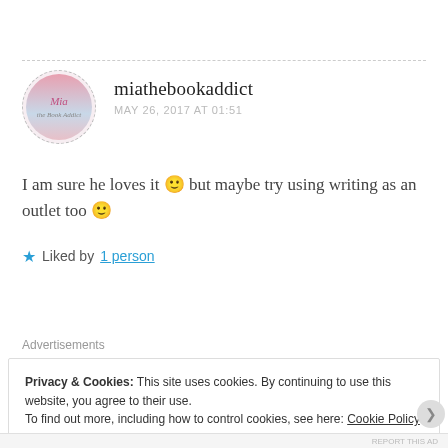[Figure (illustration): Comment avatar — circular logo with stylized 'Mia the Book Addict' text and decorative design on pink/blue gradient background]
miathebookaddict
MAY 26, 2017 AT 01:51
I am sure he loves it 🙂 but maybe try using writing as an outlet too 🙂
★ Liked by 1 person
Advertisements
Privacy & Cookies: This site uses cookies. By continuing to use this website, you agree to their use.
To find out more, including how to control cookies, see here: Cookie Policy
Close and accept